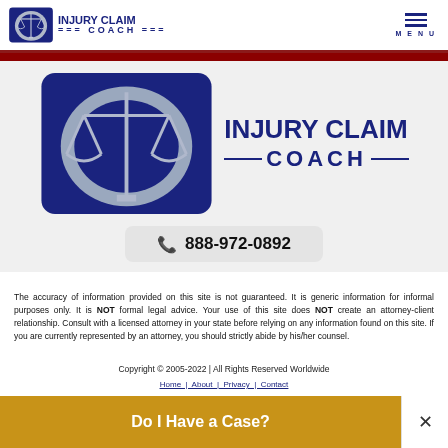INJURY CLAIM COACH
[Figure (logo): Injury Claim Coach logo with scales of justice icon, navy blue text reading INJURY CLAIM COACH]
888-972-0892
The accuracy of information provided on this site is not guaranteed. It is generic information for informal purposes only. It is NOT formal legal advice. Your use of this site does NOT create an attorney-client relationship. Consult with a licensed attorney in your state before relying on any information found on this site. If you are currently represented by an attorney, you should strictly abide by his/her counsel.
Copyright © 2005-2022 | All Rights Reserved Worldwide
Do I Have a Case?